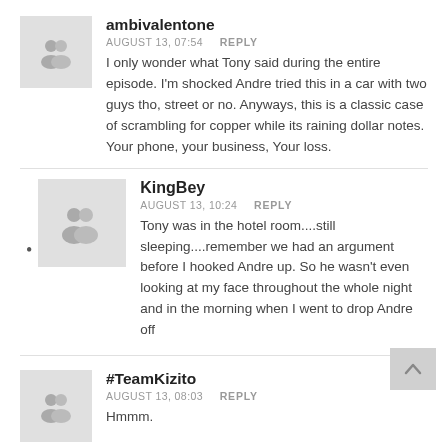ambivalentone
AUGUST 13, 07:54  REPLY
I only wonder what Tony said during the entire episode. I'm shocked Andre tried this in a car with two guys tho, street or no. Anyways, this is a classic case of scrambling for copper while its raining dollar notes. Your phone, your business, Your loss.
KingBey
AUGUST 13, 10:24  REPLY
Tony was in the hotel room....still sleeping....remember we had an argument before I hooked Andre up. So he wasn't even looking at my face throughout the whole night and in the morning when I went to drop Andre off
#TeamKizito
AUGUST 13, 08:03  REPLY
Hmmm.